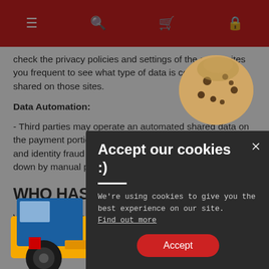Navigation bar with menu, search, cart, and lock icons
check the privacy policies and settings of the social sites you frequent to see what type of data is collected and shared on those sites.
Data Automation:
- Third parties may operate an automated shared data on the payment portion of the site. and protect against fraud and identity fraud is detected by the payment followed down by manual processing o
WHO HAS AC
We do not give, sell or third party. The da Aramine ecosystem advisors in the store may consult it but i
Your data may be p
[Figure (photo): Yellow mining underground loader truck (LHD) overlaid on the page content]
[Figure (photo): Chocolate chip cookie image overlaid on top right of page]
[Figure (screenshot): Cookie consent modal: title 'Accept our cookies :)', body text 'We're using cookies to give you the best experience on our site. Find out more', and an Accept button]